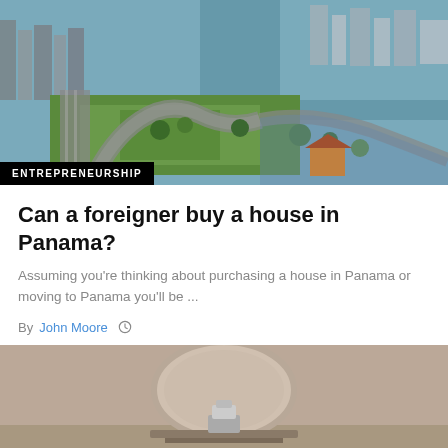[Figure (photo): Aerial view of Panama City with coastal highway, green parks, and cityscape in background]
ENTREPRENEURSHIP
Can a foreigner buy a house in Panama?
Assuming you're thinking about purchasing a house in Panama or moving to Panama you'll be ...
By John Moore  ⊙
[Figure (photo): Interior room photo with mirror and decorative item on table]